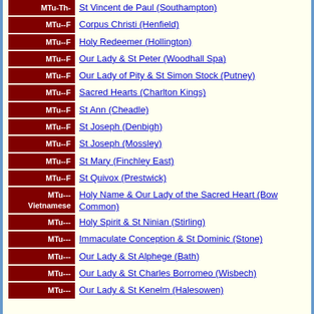MTu-Th- | St Vincent de Paul (Southampton)
MTu--F | Corpus Christi (Henfield)
MTu--F | Holy Redeemer (Hollington)
MTu--F | Our Lady & St Peter (Woodhall Spa)
MTu--F | Our Lady of Pity & St Simon Stock (Putney)
MTu--F | Sacred Hearts (Charlton Kings)
MTu--F | St Ann (Cheadle)
MTu--F | St Joseph (Denbigh)
MTu--F | St Joseph (Mossley)
MTu--F | St Mary (Finchley East)
MTu--F | St Quivox (Prestwick)
MTu--- Vietnamese | Holy Name & Our Lady of the Sacred Heart (Bow Common)
MTu--- | Holy Spirit & St Ninian (Stirling)
MTu--- | Immaculate Conception & St Dominic (Stone)
MTu--- | Our Lady & St Alphege (Bath)
MTu--- | Our Lady & St Charles Borromeo (Wisbech)
MTu--- | Our Lady & St Kenelm (Halesowen)